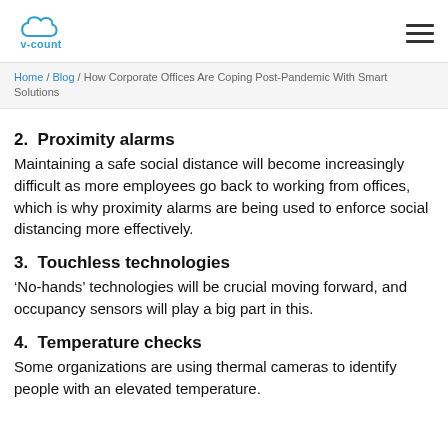V-COUNT logo and navigation menu
Home / Blog / How Corporate Offices Are Coping Post-Pandemic With Smart Solutions
2. Proximity alarms
Maintaining a safe social distance will become increasingly difficult as more employees go back to working from offices, which is why proximity alarms are being used to enforce social distancing more effectively.
3. Touchless technologies
‘No-hands’ technologies will be crucial moving forward, and occupancy sensors will play a big part in this.
4. Temperature checks
Some organizations are using thermal cameras to identify people with an elevated temperature.